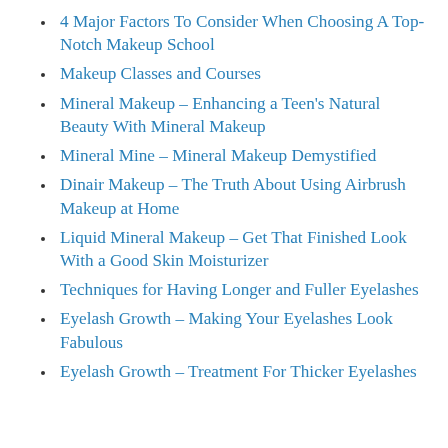4 Major Factors To Consider When Choosing A Top-Notch Makeup School
Makeup Classes and Courses
Mineral Makeup – Enhancing a Teen's Natural Beauty With Mineral Makeup
Mineral Mine – Mineral Makeup Demystified
Dinair Makeup – The Truth About Using Airbrush Makeup at Home
Liquid Mineral Makeup – Get That Finished Look With a Good Skin Moisturizer
Techniques for Having Longer and Fuller Eyelashes
Eyelash Growth – Making Your Eyelashes Look Fabulous
Eyelash Growth – Treatment For Thicker Eyelashes